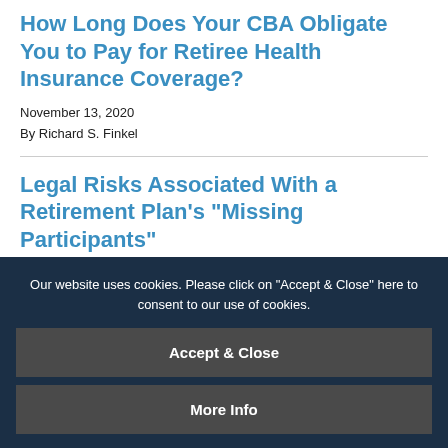How Long Does Your CBA Obligate You to Pay for Retiree Health Insurance Coverage?
November 13, 2020
By Richard S. Finkel
Legal Risks Associated With a Retirement Plan's "Missing Participants"
July 2, 2018
By Robert W. Bett...
Our website uses cookies. Please click on "Accept & Close" here to consent to our use of cookies.
Accept & Close
More Info